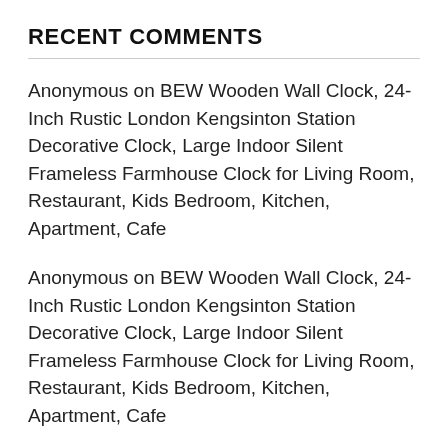RECENT COMMENTS
Anonymous on BEW Wooden Wall Clock, 24-Inch Rustic London Kengsinton Station Decorative Clock, Large Indoor Silent Frameless Farmhouse Clock for Living Room, Restaurant, Kids Bedroom, Kitchen, Apartment, Cafe
Anonymous on BEW Wooden Wall Clock, 24-Inch Rustic London Kengsinton Station Decorative Clock, Large Indoor Silent Frameless Farmhouse Clock for Living Room, Restaurant, Kids Bedroom, Kitchen, Apartment, Cafe
Anonymous on BEW Rustic Wall Clock, Large Vintage Sauternes Decorative Clock with Roman Numerals, Silent Wooden Hanging Clock for Living Room...